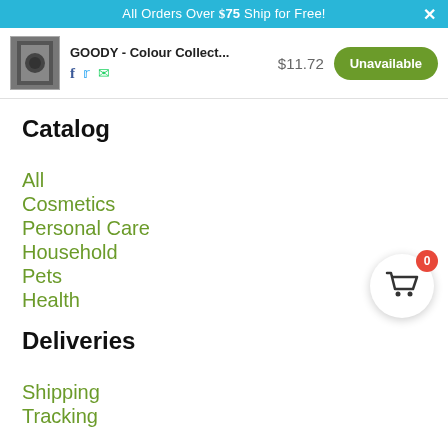All Orders Over $75 Ship for Free!
GOODY - Colour Collect... $11.72 Unavailable
Catalog
All
Cosmetics
Personal Care
Household
Pets
Health
Deliveries
Shipping
Tracking